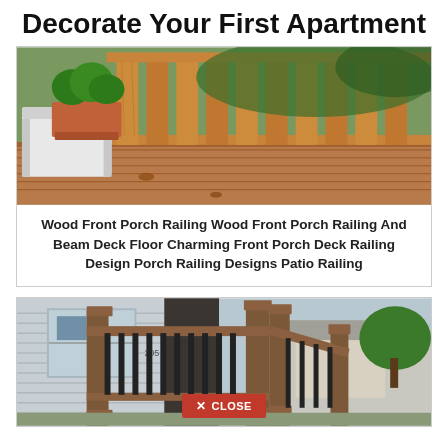Decorate Your First Apartment
[Figure (photo): Wood deck with vertical wooden railing balusters and a terracotta pot with green plant, white chair visible on left side of deck]
Wood Front Porch Railing Wood Front Porch Railing And Beam Deck Floor Charming Front Porch Deck Railing Design Porch Railing Designs Patio Railing
[Figure (photo): Brown composite porch railing with black metal balusters on house exterior, white vinyl siding, suburban house and trees in background, red CLOSE button overlay]